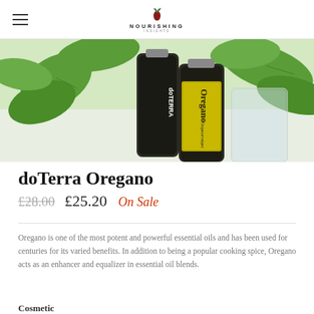NOURISHING
[Figure (photo): doTerra Oregano essential oil bottle with yellow label, alongside fresh green oregano leaves on a white surface]
doTerra Oregano
£28.00  £25.20  On Sale
Oregano is one of the most potent and powerful essential oils and has been used for centuries for its varied benefits. In addition to being a popular cooking spice, Oregano acts as an enhancer and equalizer in essential oil blends.
Cosmetic